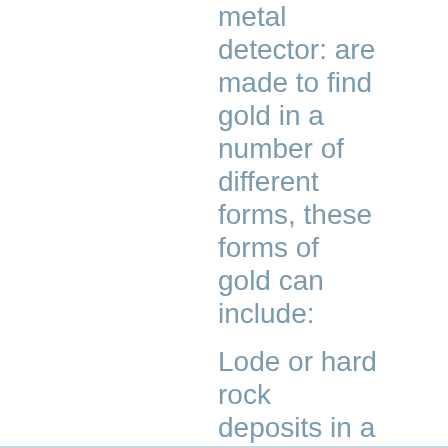metal detector: are made to find gold in a number of different forms, these forms of gold can include:
Lode or hard rock deposits in a vein a...